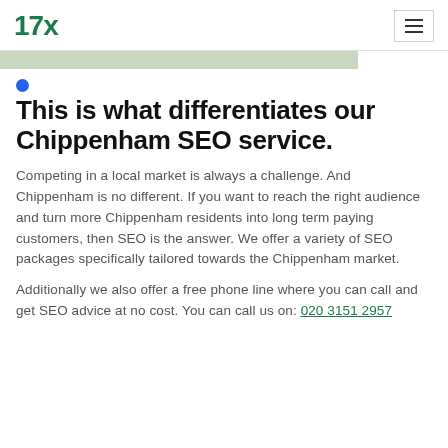17x
This is what differentiates our Chippenham SEO service.
Competing in a local market is always a challenge. And Chippenham is no different. If you want to reach the right audience and turn more Chippenham residents into long term paying customers, then SEO is the answer. We offer a variety of SEO packages specifically tailored towards the Chippenham market.
Additionally we also offer a free phone line where you can call and get SEO advice at no cost. You can call us on: 020 3151 2957